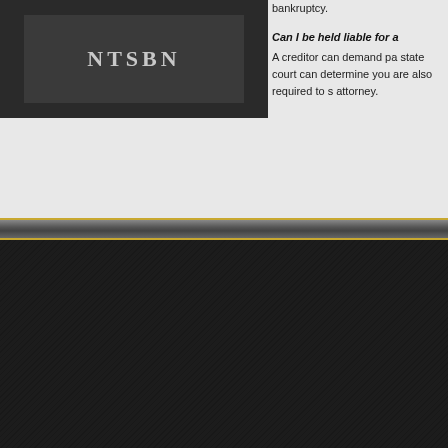[Figure (logo): NTSBI or similar law firm logo on dark background]
bankruptcy.
Can I be held liable for a
A creditor can demand pa state court can determine you are also required to s attorney.
Plant City Office - 1001 E.
The information on this websi
website hosted b
[Figure (logo): Directa or similar web hosting company logo with orange and blue swirl icon]